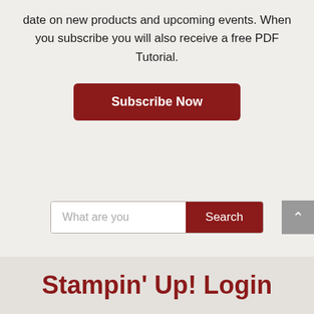date on new products and upcoming events. When you subscribe you will also receive a free PDF Tutorial.
Subscribe Now
What are you
Search
Stampin' Up! Login